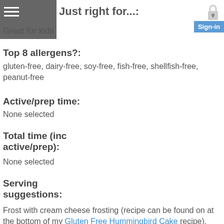Just right for...: Great for kids
Top 8 allergens?:
gluten-free, dairy-free, soy-free, fish-free, shellfish-free, peanut-free
Active/prep time:
None selected
Total time (inc active/prep):
None selected
Serving suggestions:
Frost with cream cheese frosting (recipe can be found on at the bottom of my Gluten Free Hummingbird Cake recipe).